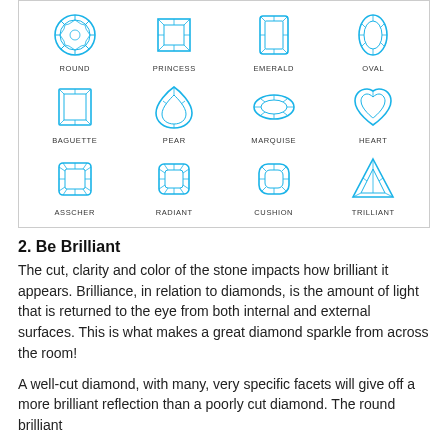[Figure (illustration): Grid of 12 diamond cut shapes in blue outline style, arranged in 3 rows of 4. Row 1: Round, Princess, Emerald, Oval. Row 2: Baguette, Pear, Marquise, Heart. Row 3: Asscher, Radiant, Cushion, Trilliant. Each shape is labeled below with its name in small caps.]
2. Be Brilliant
The cut, clarity and color of the stone impacts how brilliant it appears. Brilliance, in relation to diamonds, is the amount of light that is returned to the eye from both internal and external surfaces. This is what makes a great diamond sparkle from across the room!
A well-cut diamond, with many, very specific facets will give off a more brilliant reflection than a poorly cut diamond. The round brilliant